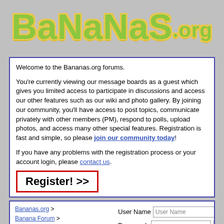[Figure (logo): Bananas.org logo in large green bubbly text with yellow outline on gray background]
Welcome to the Bananas.org forums.

You're currently viewing our message boards as a guest which gives you limited access to participate in discussions and access our other features such as our wiki and photo gallery. By joining our community, you'll have access to post topics, communicate privately with other members (PM), respond to polls, upload photos, and access many other special features. Registration is fast and simple, so please join our community today!

If you have any problems with the registration process or your account login, please contact us.
[Figure (screenshot): Register! >> button with red border]
Bananas.org > Banana Forum > Cold Hardy Bananas
... Musa
User Name  [User Name]  [checkbox] Remember Me?
Password  [        ]  [Log in]
Forgot Password?